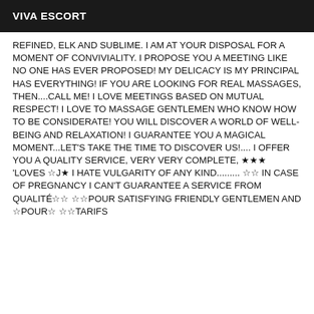VIVA ESCORT
REFINED, ELK AND SUBLIME. I AM AT YOUR DISPOSAL FOR A MOMENT OF CONVIVIALITY. I PROPOSE YOU A MEETING LIKE NO ONE HAS EVER PROPOSED! MY DELICACY IS MY PRINCIPAL HAS EVERYTHING! IF YOU ARE LOOKING FOR REAL MASSAGES, THEN....CALL ME! I LOVE MEETINGS BASED ON MUTUAL RESPECT! I LOVE TO MASSAGE GENTLEMEN WHO KNOW HOW TO BE CONSIDERATE! YOU WILL DISCOVER A WORLD OF WELL-BEING AND RELAXATION! I GUARANTEE YOU A MAGICAL MOMENT...LET'S TAKE THE TIME TO DISCOVER US!.... I OFFER YOU A QUALITY SERVICE, VERY VERY COMPLETE, ★★★ 'LOVES ☆J★ I HATE VULGARITY OF ANY KIND......... ☆☆ IN CASE OF PREGNANCY I CAN'T GUARANTEE A SERVICE FROM QUALITÉ☆☆ ☆☆POUR SATISFYING FRIENDLY GENTLEMEN AND ☆POUR☆ ☆☆TARIFS